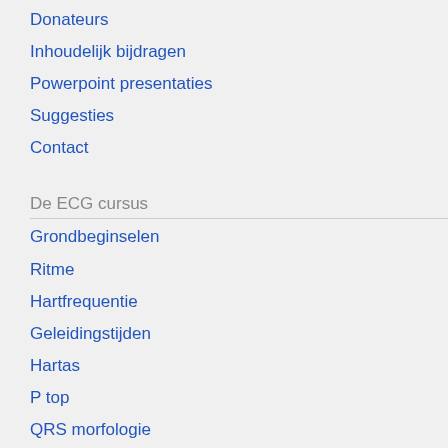Donateurs
Inhoudelijk bijdragen
Powerpoint presentaties
Suggesties
Contact
De ECG cursus
Grondbeginselen
Ritme
Hartfrequentie
Geleidingstijden
Hartas
P top
QRS morfologie
ST morfologie